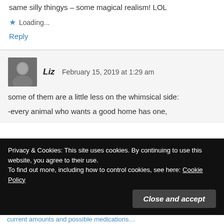same silly thingys – some magical realism! LOL
★ Loading...
Reply
Liz   February 15, 2019 at 1:29 am
[Figure (photo): Black and white avatar photo of commenter Liz]
some of them are a little less on the whimsical side:
-every animal who wants a good home has one,
Privacy & Cookies: This site uses cookies. By continuing to use this website, you agree to their use. To find out more, including how to control cookies, see here: Cookie Policy
Close and accept
current amounts and possible medications…